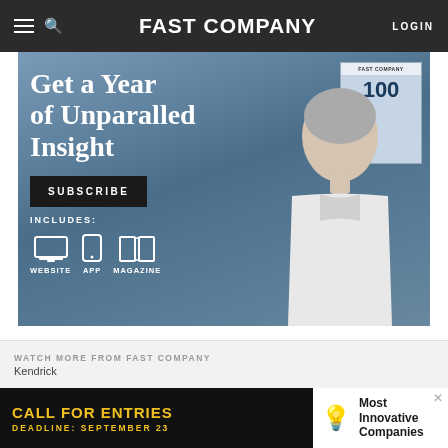FAST COMPANY
[Figure (illustration): Fast Company subscription advertisement banner. Left side shows text 'Get a Year of Unparalled Insight' with a SUBSCRIBE button, INCLUDES: label, and icons for WEBSITE, APP, MAGAZINE. Right side shows a woman looking upward and a magazine cover with '100'.]
Google and Skyhook have been tussling over IP, but in a court filing we've gained a surprising insight into Google's protective actions over Android. "Open" just ain't the word.
[Figure (illustration): Bottom advertisement overlay: 'CALL FOR ENTRIES' with 'DEADLINE: SEPTEMBER 23' on dark background. Right side shows lightbulb icon and 'Most Innovative Companies' text on white background.]